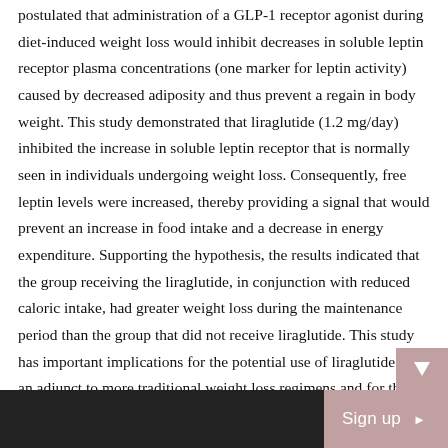postulated that administration of a GLP-1 receptor agonist during diet-induced weight loss would inhibit decreases in soluble leptin receptor plasma concentrations (one marker for leptin activity) caused by decreased adiposity and thus prevent a regain in body weight. This study demonstrated that liraglutide (1.2 mg/day) inhibited the increase in soluble leptin receptor that is normally seen in individuals undergoing weight loss. Consequently, free leptin levels were increased, thereby providing a signal that would prevent an increase in food intake and a decrease in energy expenditure. Supporting the hypothesis, the results indicated that the group receiving the liraglutide, in conjunction with reduced caloric intake, had greater weight loss during the maintenance period than the group that did not receive liraglutide. This study has important implications for the potential use of liraglutide as an adjunct to more traditional weight loss regimens and for the long-
Sign up